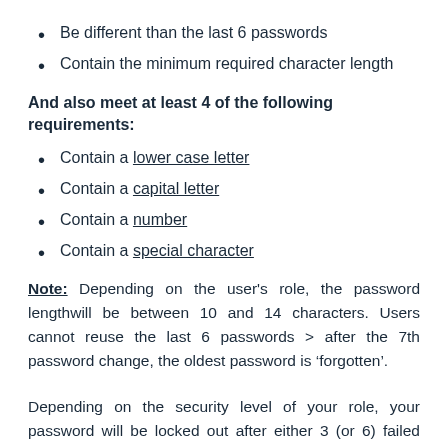Be different than the last 6 passwords
Contain the minimum required character length
And also meet at least 4 of the following requirements:
Contain a lower case letter
Contain a capital letter
Contain a number
Contain a special character
Note: Depending on the user's role, the password lengthwill be between 10 and 14 characters. Users cannot reuse the last 6 passwords > after the 7th password change, the oldest password is ‘forgotten’.
Depending on the security level of your role, your password will be locked out after either 3 (or 6) failed password attempts. After the first failed attempt, a 15 minute timeout...